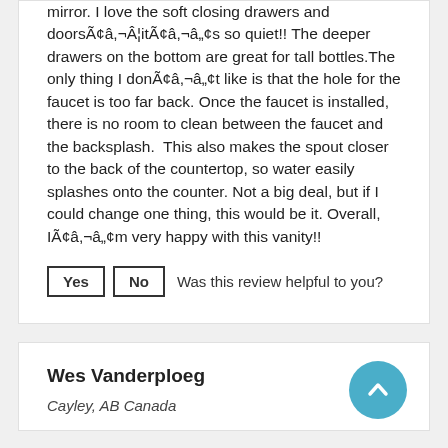mirror. I love the soft closing drawers and doorsÃ¢â,¬Â¦itÃ¢â,¬â„¢s so quiet!! The deeper drawers on the bottom are great for tall bottles.The only thing I donÃ¢â,¬â„¢t like is that the hole for the faucet is too far back. Once the faucet is installed, there is no room to clean between the faucet and the backsplash.  This also makes the spout closer to the back of the countertop, so water easily splashes onto the counter. Not a big deal, but if I could change one thing, this would be it. Overall, IÃ¢â,¬â„¢m very happy with this vanity!!
Yes  No  Was this review helpful to you?
Wes Vanderploeg
Cayley, AB Canada